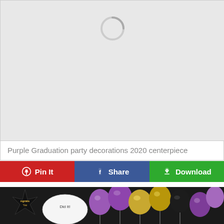[Figure (photo): Loading placeholder with spinning circle indicator on grey background]
Purple Graduation party decorations 2020 centerpiece
[Figure (other): Three social sharing buttons: Pin It (red, Pinterest), Share (blue, Facebook), Download (green)]
[Figure (photo): Photo of purple, gold, and black graduation balloons with a Congrats star balloon and 'You Did It!' text]